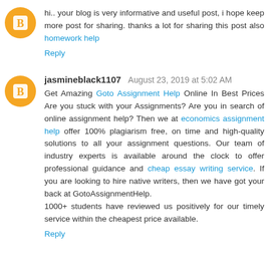[Figure (illustration): Orange circular avatar with blogger 'B' icon]
hi.. your blog is very informative and useful post, i hope keep more post for sharing. thanks a lot for sharing this post also homework help
Reply
[Figure (illustration): Orange circular avatar with blogger 'B' icon]
jasmineblack1107  August 23, 2019 at 5:02 AM
Get Amazing Goto Assignment Help Online In Best Prices Are you stuck with your Assignments? Are you in search of online assignment help? Then we at economics assignment help offer 100% plagiarism free, on time and high-quality solutions to all your assignment questions. Our team of industry experts is available around the clock to offer professional guidance and cheap essay writing service. If you are looking to hire native writers, then we have got your back at GotoAssignmentHelp.
1000+ students have reviewed us positively for our timely service within the cheapest price available.
Reply